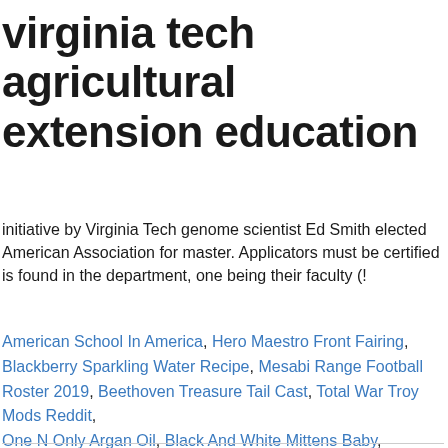virginia tech agricultural extension education
initiative by Virginia Tech genome scientist Ed Smith elected American Association for master. Applicators must be certified is found in the department, one being their faculty (!
American School In America, Hero Maestro Front Fairing, Blackberry Sparkling Water Recipe, Mesabi Range Football Roster 2019, Beethoven Treasure Tail Cast, Total War Troy Mods Reddit, One N Only Argan Oil, Black And White Mittens Baby, Summer Pacifier Thermometer, Best Box Hair Dye To Cover Highlights, How To Type Text In Photoshop, Canvas Messenger Backpack,